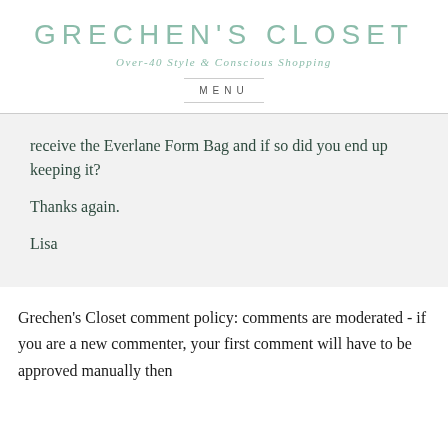GRECHEN'S CLOSET
Over-40 Style & Conscious Shopping
MENU
receive the Everlane Form Bag and if so did you end up keeping it?
Thanks again.
Lisa
Grechen's Closet comment policy: comments are moderated - if you are a new commenter, your first comment will have to be approved manually then